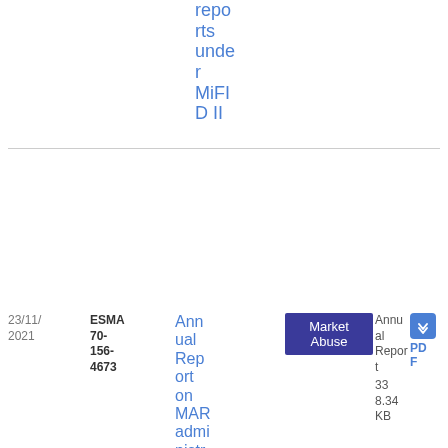reports under MiFID II
| Date | Reference | Title | Tag | Type | File |
| --- | --- | --- | --- | --- | --- |
| 23/11/2021 | ESMA 70-156-4673 | Annual Report on MAR administrative and criminal sanctions 2021 | Market Abuse | Annual Report | PDF 338.34 KB |